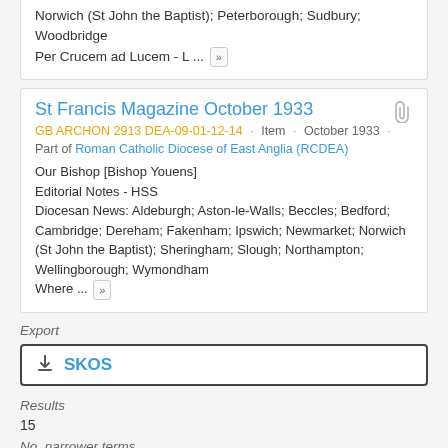Norwich (St John the Baptist); Peterborough; Sudbury; Woodbridge
Per Crucem ad Lucem - L ... »
St Francis Magazine October 1933
GB ARCHON 2913 DEA-09-01-12-14 · Item · October 1933 ·
Part of Roman Catholic Diocese of East Anglia (RCDEA)
Our Bishop [Bishop Youens]
Editorial Notes - HSS
Diocesan News: Aldeburgh; Aston-le-Walls; Beccles; Bedford; Cambridge; Dereham; Fakenham; Ipswich; Newmarket; Norwich (St John the Baptist); Sheringham; Slough; Northampton; Wellingborough; Wymondham
Where ... »
Export
SKOS
Results
15
No. narrower terms